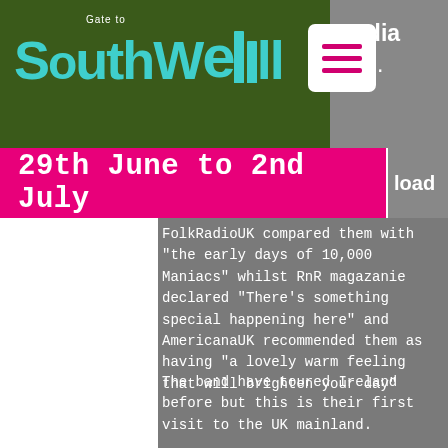[Figure (logo): Gate to Southwell website header with dark green background, teal/cyan Southwell logo text, and white hamburger menu button with pink/magenta lines. Partial gray area on right showing 'media' and 'tion.' text.]
29th June to 2nd July
FolkRadioUK compared them with "the early days of 10,000 Maniacs" whilst RnR magazanie declared "There's something special happening here" and AmericanaUK recommended them as having “a lovely warm feeling that will brighten your day”
The band have toured Ireland before but this is their first visit to the UK mainland.